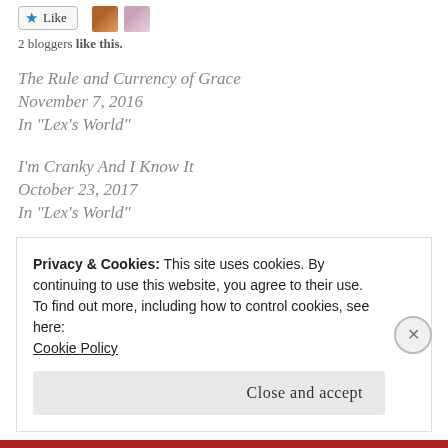2 bloggers like this.
The Rule and Currency of Grace
November 7, 2016
In "Lex's World"
I'm Cranky And I Know It
October 23, 2017
In "Lex's World"
Something Small, Something Simple
November 6, 2017
In "Lex's World"
Privacy & Cookies: This site uses cookies. By continuing to use this website, you agree to their use.
To find out more, including how to control cookies, see here:
Cookie Policy
Close and accept